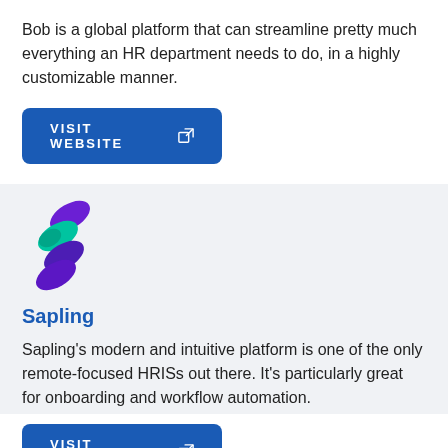Bob is a global platform that can streamline pretty much everything an HR department needs to do, in a highly customizable manner.
[Figure (other): Blue button labeled VISIT WEBSITE with external link icon]
[Figure (logo): Sapling logo — stylized S shape with purple and teal/green overlapping pill shapes]
Sapling
Sapling's modern and intuitive platform is one of the only remote-focused HRISs out there. It's particularly great for onboarding and workflow automation.
[Figure (other): Blue button labeled VISIT WEBSITE with external link icon]